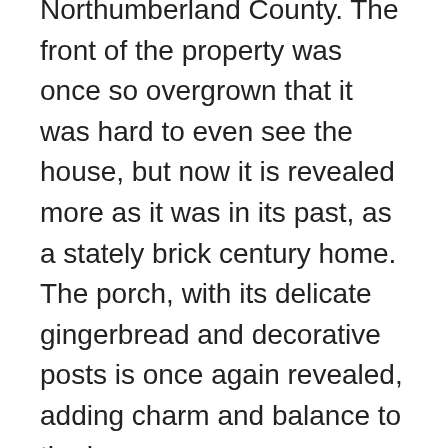Northumberland County. The front of the property was once so overgrown that it was hard to even see the house, but now it is revealed more as it was in its past, as a stately brick century home. The porch, with its delicate gingerbread and decorative posts is once again revealed, adding charm and balance to the house.
Some of the windows are two over two pane, common in the mid 1800s when it is assumed this house was built and some have obviously been replaced. The “tail” has an interesting array of multi paned windows giving it a unique appearance.